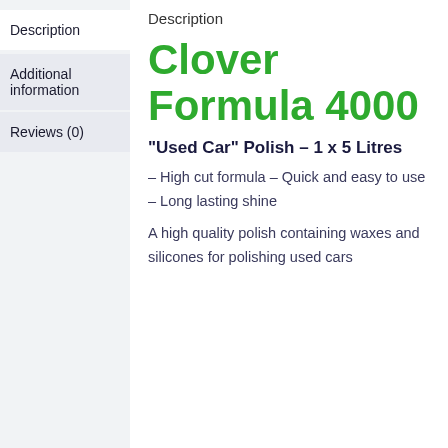Description
Additional information
Reviews (0)
Description
Clover Formula 4000
"Used Car" Polish – 1 x 5 Litres
– High cut formula – Quick and easy to use – Long lasting shine
A high quality polish containing waxes and silicones for polishing used cars